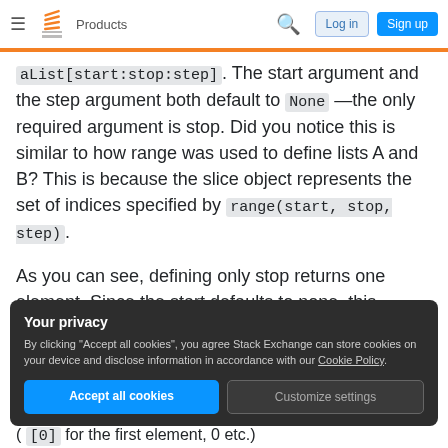≡  [Stack logo]  Products  🔍  Log in  Sign up
aList[start:stop:step]. The start argument and the step argument both default to None —the only required argument is stop. Did you notice this is similar to how range was used to define lists A and B? This is because the slice object represents the set of indices specified by range(start, stop, step).
As you can see, defining only stop returns one element. Since the start defaults to none, this translates into retrieving only one element.
Your privacy
By clicking "Accept all cookies", you agree Stack Exchange can store cookies on your device and disclose information in accordance with our Cookie Policy.
[Accept all cookies] [Customize settings]
( [0]  for the first element, 0  etc.)